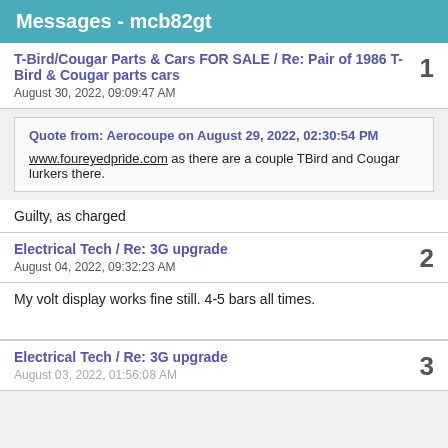Messages - mcb82gt
T-Bird/Cougar Parts & Cars FOR SALE / Re: Pair of 1986 T-Bird & Cougar parts cars
August 30, 2022, 09:09:47 AM
Quote from: Aerocoupe on August 29, 2022, 02:30:54 PM
www.foureyedpride.com as there are a couple TBird and Cougar lurkers there.
Guilty, as charged
Electrical Tech / Re: 3G upgrade
August 04, 2022, 09:32:23 AM
My volt display works fine still.  4-5 bars all times.
Electrical Tech / Re: 3G upgrade
August 03, 2022, 01:56:08 AM